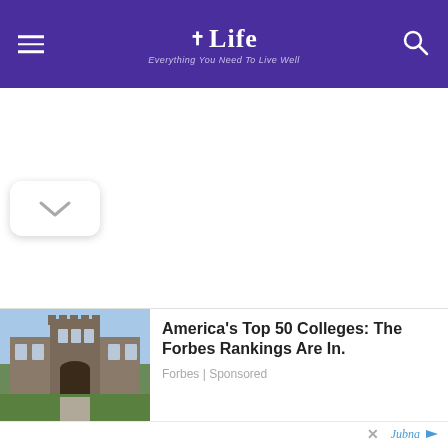† Life — Everything You Need To Live Well
[Figure (screenshot): Advertisement card showing a college building photo with text 'America's Top 50 Colleges: The Forbes Rankings Are In.' sourced from Forbes | Sponsored, with Jubna branding at bottom right and close button (X)]